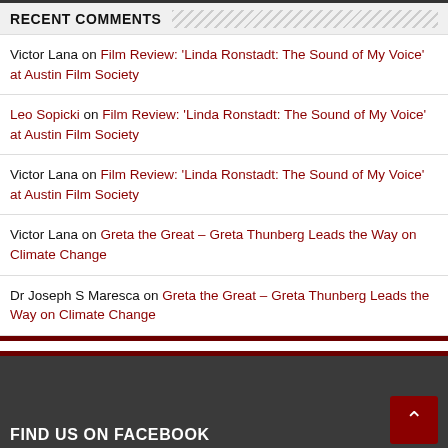RECENT COMMENTS
Victor Lana on Film Review: ‘Linda Ronstadt: The Sound of My Voice’ at Austin Film Society
Leo Sopicki on Film Review: ‘Linda Ronstadt: The Sound of My Voice’ at Austin Film Society
Victor Lana on Film Review: ‘Linda Ronstadt: The Sound of My Voice’ at Austin Film Society
Victor Lana on Greta the Great – Greta Thunberg Leads the Way on Climate Change
Dr Joseph S Maresca on Greta the Great – Greta Thunberg Leads the Way on Climate Change
FIND US ON FACEBOOK